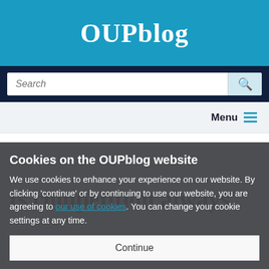OUPblog
Search
Menu
Is competition always
Cookies on the OUPblog website
We use cookies to enhance your experience on our website. By clicking ‘continue’ or by continuing to use our website, you are agreeing to our use of cookies. You can change your cookie settings at any time.
Continue